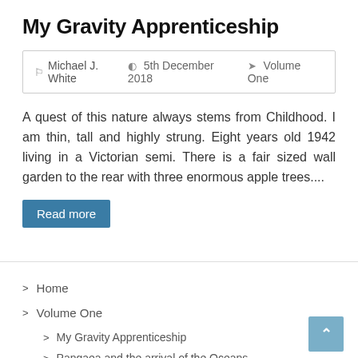My Gravity Apprenticeship
Michael J. White   5th December 2018   Volume One
A quest of this nature always stems from Childhood. I am thin, tall and highly strung. Eight years old 1942 living in a Victorian semi. There is a fair sized wall garden to the rear with three enormous apple trees....
Read more
> Home
> Volume One
> My Gravity Apprenticeship
> Pangaea and the arrival of the Oceans